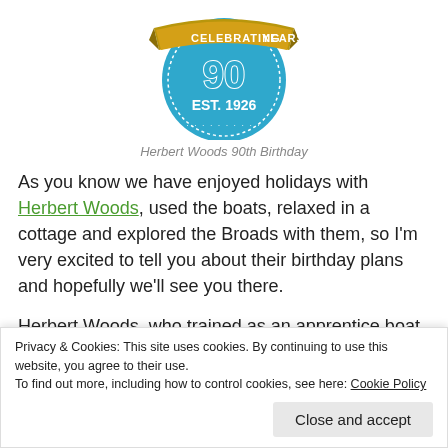[Figure (logo): Herbert Woods 90th birthday badge/logo: blue circular badge with gold ribbon banner reading 'CELEBRATING 90 YEARS', text 'EST. 1926' in white on blue background]
Herbert Woods 90th Birthday
As you know we have enjoyed holidays with Herbert Woods, used the boats, relaxed in a cottage and explored the Broads with them, so I'm very excited to tell you about their birthday plans and hopefully we'll see you there.
Herbert Woods, who trained as an apprentice boat builder in Potter Heigham in 1907, was one of the first pioneers of Broads Tourism and now the company, which he formed in
Privacy & Cookies: This site uses cookies. By continuing to use this website, you agree to their use.
To find out more, including how to control cookies, see here: Cookie Policy
Close and accept